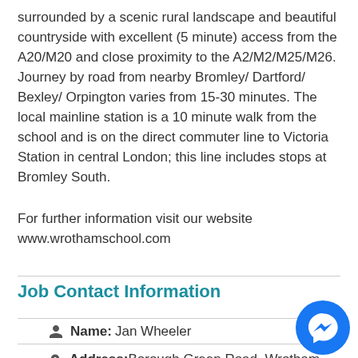surrounded by a scenic rural landscape and beautiful countryside with excellent (5 minute) access from the A20/M20 and close proximity to the A2/M2/M25/M26. Journey by road from nearby Bromley/ Dartford/ Bexley/ Orpington varies from 15-30 minutes. The local mainline station is a 10 minute walk from the school and is on the direct commuter line to Victoria Station in central London; this line includes stops at Bromley South.
For further information visit our website www.wrothamschool.com
Job Contact Information
Name: Jan Wheeler
Address: Borough Green Road, Wrotham, Sevenoaks, Kent, TN15 7RD